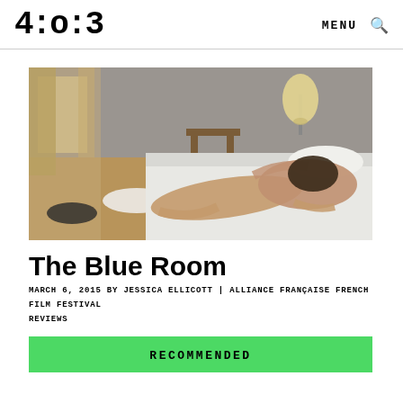4:o:3  MENU 🔍
[Figure (photo): Two people lying on an unmade bed in a hotel room with sunlight streaming through curtains, clothes on the floor, wooden bench visible in background]
The Blue Room
MARCH 6, 2015 BY JESSICA ELLICOTT | ALLIANCE FRANÇAISE FRENCH FILM FESTIVAL
REVIEWS
RECOMMENDED